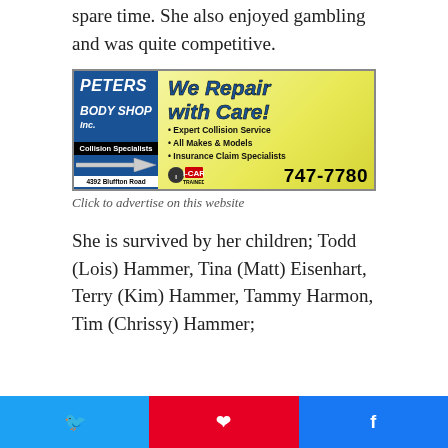spare time. She also enjoyed gambling and was quite competitive.
[Figure (advertisement): Peters Body Shop Inc. advertisement. Left side has blue background with 'PETERS' and 'BODY SHOP Inc.' in white italic text, 'Collision Specialists' bar, arrow graphic, and '4392 Bluffton Road'. Right side has yellow gradient background with 'We Repair with Care!' in blue italic bold text, bullet points: Expert Collision Service, All Makes & Models, Insurance Claim Specialists, I-CAR Trained logo, and phone number 747-7780.]
Click to advertise on this website
She is survived by her children; Todd (Lois) Hammer, Tina (Matt) Eisenhart, Terry (Kim) Hammer, Tammy Harmon, Tim (Chrissy) Hammer;